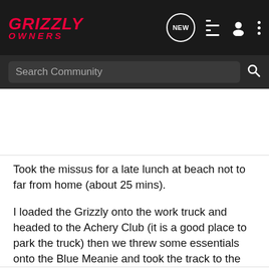GRIZZLY OWNERS — Navigation header with search bar
Took the missus for a late lunch at beach not to far from home (about 25 mins).

I loaded the Grizzly onto the work truck and headed to the Achery Club (it is a good place to park the truck) then we threw some essentials onto the Blue Meanie and took the track to the beach. We had a quiet afternoon on the beach, except for the snake that decided to sun itself on the beach only 10 metres from where we were sitting! Anyway we had a good afternoon and watched the sun go down, I even found some challenging country that I will be going back too later on.

Cheers Noel